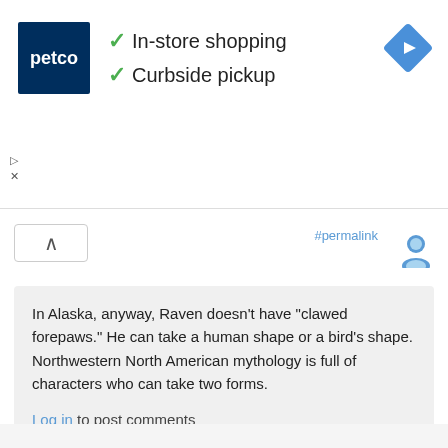[Figure (screenshot): Petco advertisement banner with logo showing 'petco' in white on dark blue background, green checkmarks next to 'In-store shopping' and 'Curbside pickup', and a blue diamond navigation icon on the right]
#permalink
In Alaska, anyway, Raven doesn't have "clawed forepaws." He can take a human shape or a bird's shape. Northwestern North American mythology is full of characters who can take two forms.
Log in to post comments
By Jenny Islander (not verified) on 18 Jun 2008
#permalink